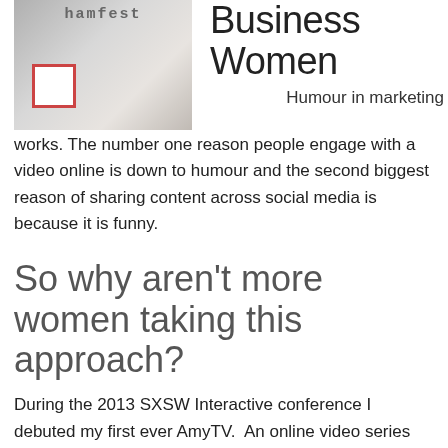[Figure (photo): Photo of a sign or plaque with text, partially visible, on a desk surface with printed materials]
Business Women
Humour in marketing works. The number one reason people engage with a video online is down to humour and the second biggest reason of sharing content across social media is because it is funny.
So why aren't more women taking this approach?
During the 2013 SXSW Interactive conference I debuted my first ever AmyTV.  An online video series providing a light-hearted look at content-